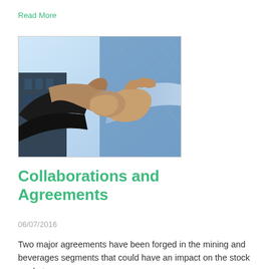Read More
[Figure (photo): Two people shaking hands in front of a blue glass skyscraper building, symbolizing a business agreement or partnership.]
Collaborations and Agreements
06/07/2016
Two major agreements have been forged in the mining and beverages segments that could have an impact on the stock market.